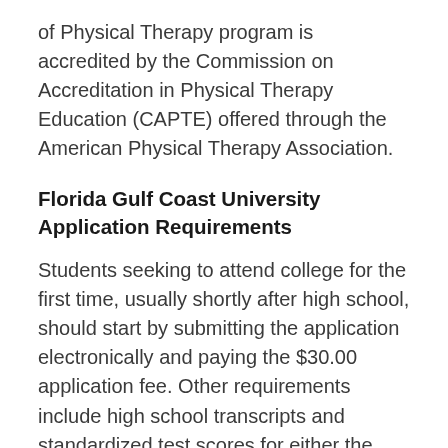of Physical Therapy program is accredited by the Commission on Accreditation in Physical Therapy Education (CAPTE) offered through the American Physical Therapy Association.
Florida Gulf Coast University Application Requirements
Students seeking to attend college for the first time, usually shortly after high school, should start by submitting the application electronically and paying the $30.00 application fee. Other requirements include high school transcripts and standardized test scores for either the SAT, ACT, or both. To be considered for admission as a